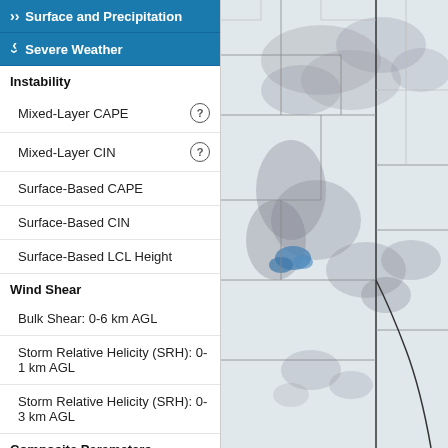Surface and Precipitation
Severe Weather
Instability
Mixed-Layer CAPE
Mixed-Layer CIN
Surface-Based CAPE
Surface-Based CIN
Surface-Based LCL Height
Wind Shear
Bulk Shear: 0-6 km AGL
Storm Relative Helicity (SRH): 0-1 km AGL
Storm Relative Helicity (SRH): 0-3 km AGL
Composite Parameters
Energy Helicity Index (EHI): 0-1 km AGL
Energy Helicity Index (EHI): 0-3 km AGL
Supercell Composite
Significant Tornado Parameter (SigTor)
[Figure (map): Weather map showing severe weather parameters overlay on a geographic map of the central United States, with gray shading indicating atmospheric instability/helicity patterns and blue highlighted areas in the central region.]